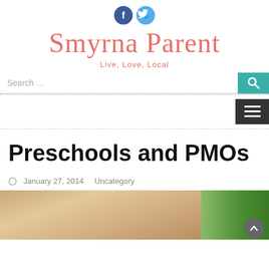[Figure (logo): Facebook and Twitter social media icons (circles with f and bird icons)]
Smyrna Parent
Live, Love, Local
[Figure (screenshot): Search bar with dotted underline and teal search button with magnifying glass icon]
[Figure (screenshot): Dark hamburger menu button with three white horizontal lines]
Preschools and PMOs
January 27, 2014   Uncategory
[Figure (photo): Partial photo of a blonde child in a classroom setting with a green chalkboard visible on the right]